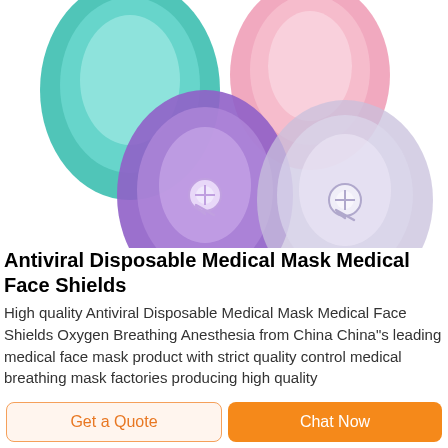[Figure (photo): Four medical/anesthesia face masks in different colors: teal/green (top left), pink (top right), purple (bottom left), and clear/lavender (bottom right). The masks are teardrop-shaped silicone masks with visible valve/connector components.]
Antiviral Disposable Medical Mask Medical Face Shields
High quality Antiviral Disposable Medical Mask Medical Face Shields Oxygen Breathing Anesthesia from China China"s leading medical face mask product with strict quality control medical breathing mask factories producing high quality